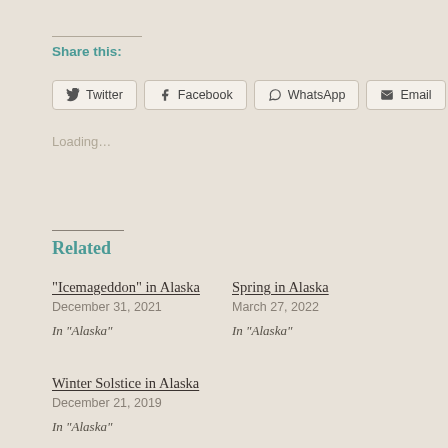Share this:
Twitter  Facebook  WhatsApp  Email
Loading...
Related
“Icemageddon” in Alaska
December 31, 2021
In “Alaska”
Spring in Alaska
March 27, 2022
In “Alaska”
Winter Solstice in Alaska
December 21, 2019
In “Alaska”